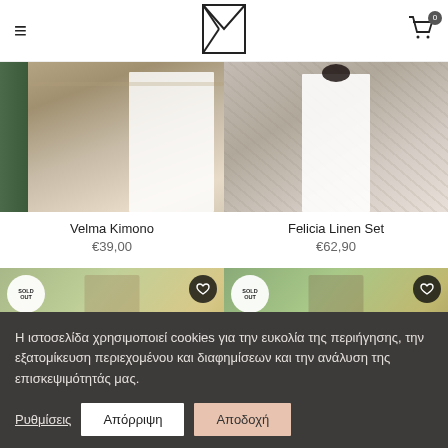Navigation header with hamburger menu, logo, and cart icon (0 items)
[Figure (photo): Woman wearing white kimono/shawl at a tropical venue with green curtains and wooden deck]
Velma Kimono
€39,00
[Figure (photo): Woman wearing white linen set (top and wide-leg trousers) against stone wall background]
Felicia Linen Set
€62,90
[Figure (photo): Sold out product — woman in green patterned top, with SOLD OUT badge and heart button]
[Figure (photo): Sold out product — woman in green/khaki outfit, with SOLD OUT badge and heart button]
Η ιστοσελίδα χρησιμοποιεί cookies για την ευκολία της περιήγησης, την εξατομίκευση περιεχομένου και διαφημίσεων και την ανάλυση της επισκεψιμότητάς μας.
Ρυθμίσεις | Απόρριψη | Αποδοχή